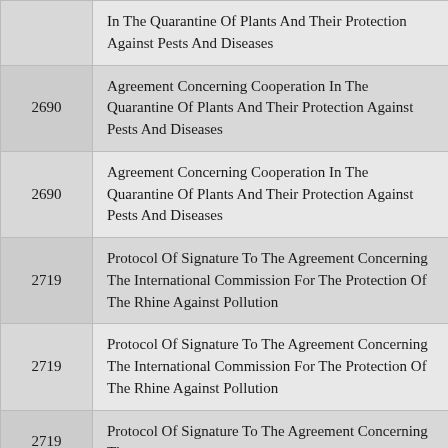| Number | Title |
| --- | --- |
|  | In The Quarantine Of Plants And Their Protection Against Pests And Diseases |
| 2690 | Agreement Concerning Cooperation In The Quarantine Of Plants And Their Protection Against Pests And Diseases |
| 2690 | Agreement Concerning Cooperation In The Quarantine Of Plants And Their Protection Against Pests And Diseases |
| 2719 | Protocol Of Signature To The Agreement Concerning The International Commission For The Protection Of The Rhine Against Pollution |
| 2719 | Protocol Of Signature To The Agreement Concerning The International Commission For The Protection Of The Rhine Against Pollution |
| 2719 | Protocol Of Signature To The Agreement Concerning The... |